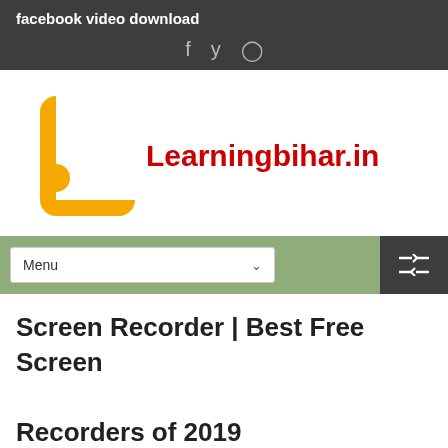facebook video download
[Figure (logo): Learningbihar.in logo with orange L-shaped icon and red bold text]
Menu
Screen Recorder | Best Free Screen Recorders of 2019